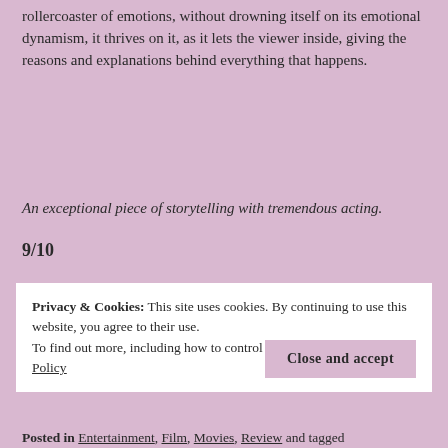rollercoaster of emotions, without drowning itself on its emotional dynamism, it thrives on it, as it lets the viewer inside, giving the reasons and explanations behind everything that happens.
An exceptional piece of storytelling with tremendous acting.
9/10
Privacy & Cookies: This site uses cookies. By continuing to use this website, you agree to their use.
To find out more, including how to control cookies, see here: Cookie Policy
Close and accept
Posted in Entertainment, Film, Movies, Review and tagged